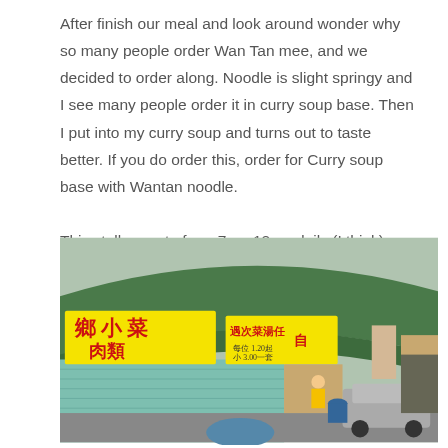After finish our meal and look around wonder why so many people order Wan Tan mee, and we decided to order along. Noodle is slight springy and I see many people order it in curry soup base. Then I put into my curry soup and turns out to taste better. If you do order this, order for Curry soup base with Wantan noodle.

This stall operate from 7am-12pm daily (I think)
[Figure (photo): Street-level photo of a food market/hawker centre with a green curved metal roof. Yellow banners with red Chinese characters hang from the stalls. A car is parked on the right side. People and market stalls are visible in the background.]